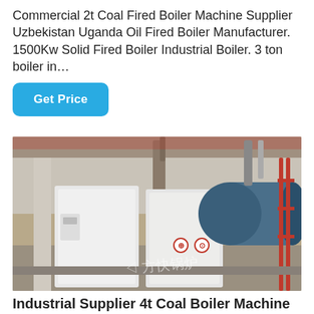Commercial 2t Coal Fired Boiler Machine Supplier Uzbekistan Uganda Oil Fired Boiler Manufacturer. 1500Kw Solid Fired Boiler Industrial Boiler. 3 ton boiler in…
Get Price
[Figure (photo): Industrial boiler installation inside a factory building showing large white rectangular boiler units and a large horizontal cylindrical blue boiler tank with piping and red-painted framework. A watermark '方快锅炉' is visible.]
Industrial Supplier 4t Coal Boiler Machine